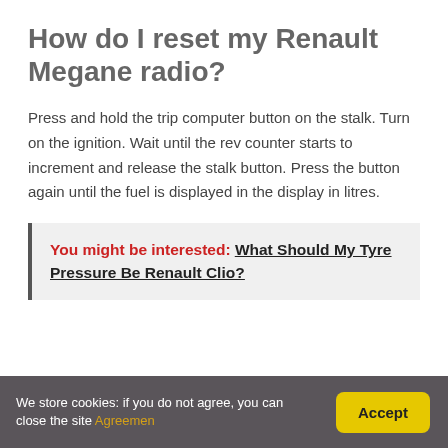How do I reset my Renault Megane radio?
Press and hold the trip computer button on the stalk. Turn on the ignition. Wait until the rev counter starts to increment and release the stalk button. Press the button again until the fuel is displayed in the display in litres.
You might be interested: What Should My Tyre Pressure Be Renault Clio?
We store cookies: if you do not agree, you can close the site Agreemen  Accept